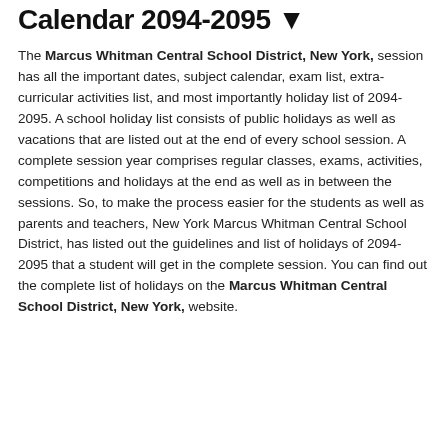Calendar 2094-2095 ▼
The Marcus Whitman Central School District, New York, session has all the important dates, subject calendar, exam list, extra-curricular activities list, and most importantly holiday list of 2094-2095. A school holiday list consists of public holidays as well as vacations that are listed out at the end of every school session. A complete session year comprises regular classes, exams, activities, competitions and holidays at the end as well as in between the sessions. So, to make the process easier for the students as well as parents and teachers, New York Marcus Whitman Central School District, has listed out the guidelines and list of holidays of 2094-2095 that a student will get in the complete session. You can find out the complete list of holidays on the Marcus Whitman Central School District, New York, website.